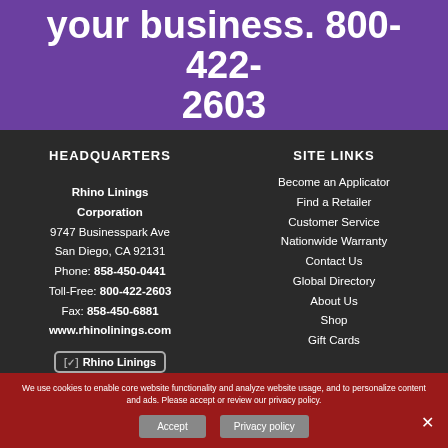your business. 800-422-2603
HEADQUARTERS
Rhino Linings Corporation
9747 Businesspark Ave
San Diego, CA 92131
Phone: 858-450-0441
Toll-Free: 800-422-2603
Fax: 858-450-6881
www.rhinolinings.com
SITE LINKS
Become an Applicator
Find a Retailer
Customer Service
Nationwide Warranty
Contact Us
Global Directory
About Us
Shop
Gift Cards
We use cookies to enable core website functionality and analyze website usage, and to personalize content and ads. Please accept or review our privacy policy.
Accept  Privacy policy